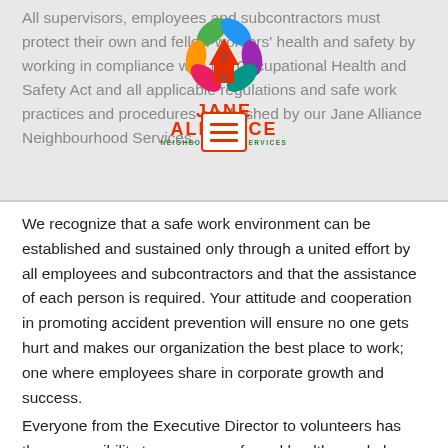All supervisors, employees and subcontractors must protect their own and fellow workers' health and safety by working in compliance with the Occupational Health and Safety Act and all applicable regulations and safe work practices and procedures established by our Jane Alliance Neighbourhood Services.
[Figure (logo): Jane Alliance Neighbourhood Services logo with multicolored star and red text]
We recognize that a safe work environment can be established and sustained only through a united effort by all employees and subcontractors and that the assistance of each person is required. Your attitude and cooperation in promoting accident prevention will ensure no one gets hurt and makes our organization the best place to work; one where employees share in corporate growth and success.
Everyone from the Executive Director to volunteers has the responsibility to ensure a safe and healthy workplace. Let's all work together to prevent incidents from creating